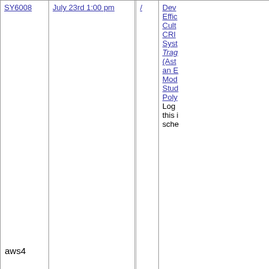| ID | Date/Time | / | Title/Info |
| --- | --- | --- | --- |
| SY6008 | July 23rd 1:00 pm | / | Dev...
Effic...
Cult...
CRI...
Syst...
Trag... (Ast...
an E...
Mod...
Stud...
Poly...
Log this i sche... |
| SY6009 | July 23rd 1:30 pm | / | CRI... bett...
Log this i sche... |
|  | July 23rd 2:00 pm | / | Disc...
Log this i sche... |
Copyright © 2000-2021, Botanical Society of America. All rights r...
aws4